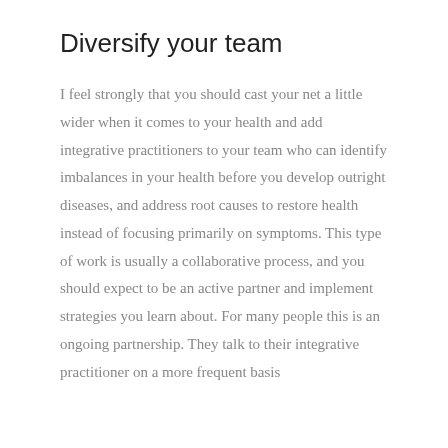Diversify your team
I feel strongly that you should cast your net a little wider when it comes to your health and add integrative practitioners to your team who can identify imbalances in your health before you develop outright diseases, and address root causes to restore health instead of focusing primarily on symptoms. This type of work is usually a collaborative process, and you should expect to be an active partner and implement strategies you learn about. For many people this is an ongoing partnership. They talk to their integrative practitioner on a more frequent basis